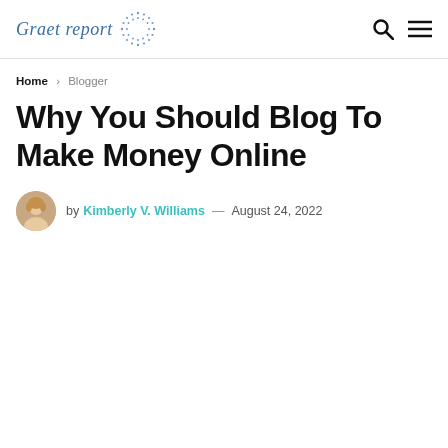Graet report [logo with dot circle] [search icon] [menu icon]
Home > Blogger
Why You Should Blog To Make Money Online
by Kimberly V. Williams — August 24, 2022